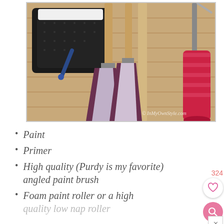[Figure (photo): Photo of painting supplies on a wooden surface: a black paint tray with a small roller, two Purdy angled paint brushes, a wood stirrer, and a red foam paint roller. Watermark reads: © InMyOwnStyle.com]
Paint
Primer
High quality (Purdy is my favorite) angled paint brush
Foam paint roller or a high quality low nap roller